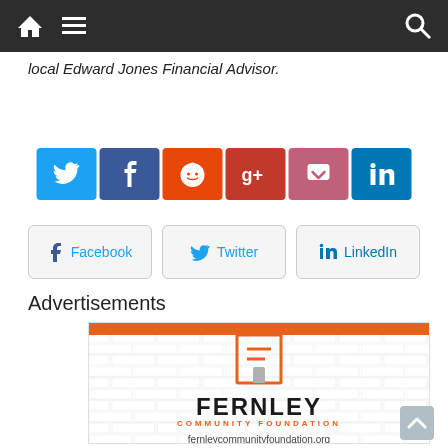local Edward Jones Financial Advisor.
[Figure (infographic): Row of social share icon buttons: Twitter (blue), Facebook (dark blue), Reddit (orange-red), Google+ (red), Pocket (pink), LinkedIn (blue)]
[Figure (infographic): Row of three share buttons: Facebook, Twitter, LinkedIn with icons]
Advertisements
[Figure (logo): Fernley Community Foundation advertisement banner with orange top bar, decorative brick pattern background, F-shaped logo icon in orange, text FERNLEY in large black letters, COMMUNITY FOUNDATION in orange small caps, and URL fernleycommunityfoundation.org]